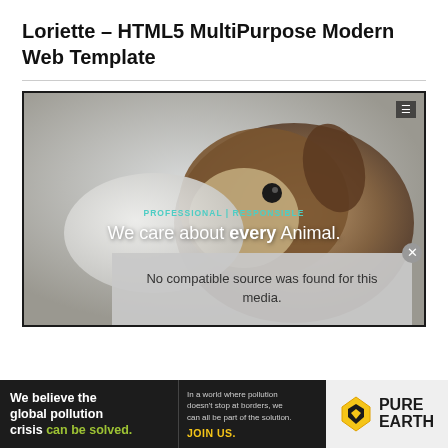Loriette – HTML5 MultiPurpose Modern Web Template
[Figure (screenshot): Screenshot of Loriette HTML5 web template showing a veterinary/animal care website with a dog image and text 'We care about every Animal.' overlaid. A menu icon appears top right. An error overlay reads 'No compatible source was found for this media.']
[Figure (infographic): Advertisement banner for Pure Earth organization. Left: 'We believe the global pollution crisis can be solved.' Middle: 'In a world where pollution doesn't stop at borders, we can all be part of the solution. JOIN US.' Right: Pure Earth logo with diamond/arrow icon.]